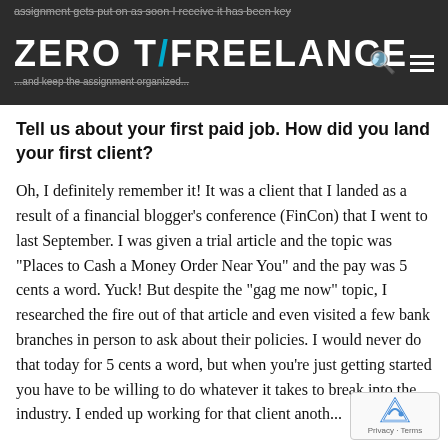ZERO TO FREELANCE
Tell us about your first paid job. How did you land your first client?
Oh, I definitely remember it! It was a client that I landed as a result of a financial blogger's conference (FinCon) that I went to last September. I was given a trial article and the topic was “Places to Cash a Money Order Near You” and the pay was 5 cents a word. Yuck! But despite the “gag me now” topic, I researched the fire out of that article and even visited a few bank branches in person to ask about their policies. I would never do that today for 5 cents a word, but when you’re just getting started you have to be willing to do whatever it takes to break into the industry. I ended up working for that client anoth...